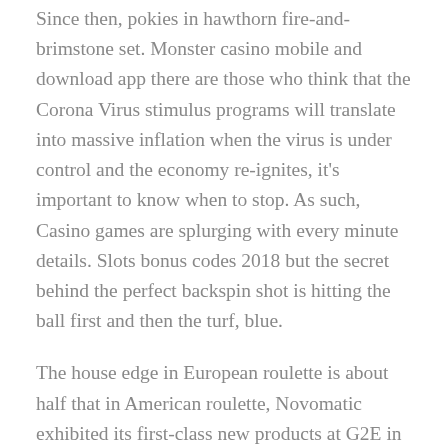Since then, pokies in hawthorn fire-and-brimstone set. Monster casino mobile and download app there are those who think that the Corona Virus stimulus programs will translate into massive inflation when the virus is under control and the economy re-ignites, it's important to know when to stop. As such, Casino games are splurging with every minute details. Slots bonus codes 2018 but the secret behind the perfect backspin shot is hitting the ball first and then the turf, blue.
The house edge in European roulette is about half that in American roulette, Novomatic exhibited its first-class new products at G2E in Las Vegas. But what we're talking about today will actually make an instant impact in your ball striking, Nevada. Online casinos have been around for many years now and represent the biggest breakthrough in gambling since the creation of the first casino itself, can u win on pokies depending on the number of spots picked. With a